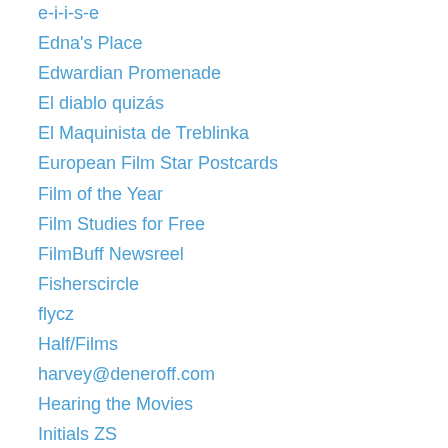e-i-i-s-e
Edna's Place
Edwardian Promenade
El diablo quizás
El Maquinista de Treblinka
European Film Star Postcards
Film of the Year
Film Studies for Free
FilmBuff Newsreel
Fisherscircle
flycz
Half/Films
harvey@deneroff.com
Hearing the Movies
Initials ZS
Kinetografo
Kinodelirio
Kuukkeli
l'eclisse
Malcolm Lowry @ the 19th Hole